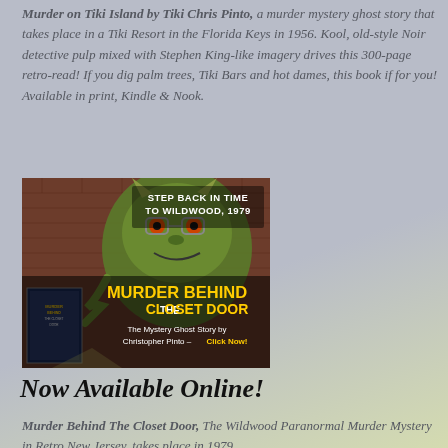Murder on Tiki Island by Tiki Chris Pinto, a murder mystery ghost story that takes place in a Tiki Resort in the Florida Keys in 1956. Kool, old-style Noir detective pulp mixed with Stephen King-like imagery drives this 300-page retro-read! If you dig palm trees, Tiki Bars and hot dames, this book if for you! Available in print, Kindle & Nook.
[Figure (illustration): Advertisement for 'Murder Behind the Closet Door' book. Shows a dragon/monster figure with horns against a brick background, with book cover inset. Text reads 'STEP BACK IN TIME TO WILDWOOD, 1979', 'MURDER BEHIND THE CLOSET DOOR', 'The Mystery Ghost Story by Christopher Pinto – Click Now!']
Now Available Online!
Murder Behind The Closet Door, The Wildwood Paranormal Murder Mystery in Retro New Jersey, takes place in 1979…